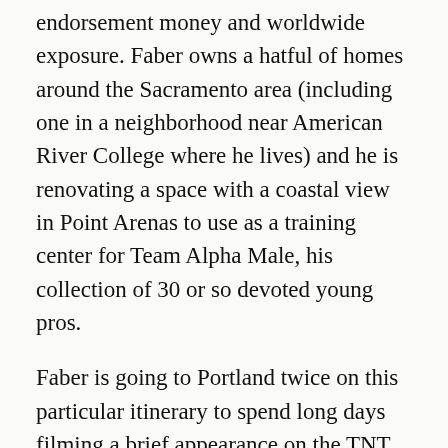endorsement money and worldwide exposure. Faber owns a hatful of homes around the Sacramento area (including one in a neighborhood near American River College where he lives) and he is renovating a space with a coastal view in Point Arenas to use as a training center for Team Alpha Male, his collection of 30 or so devoted young pros.
Faber is going to Portland twice on this particular itinerary to spend long days filming a brief appearance on the TNT television series Leverage with Timothy Hutton, playing a part chosen for him by series co-star Christian Kane, a longtime friend. There is word of Faber potentially being chosen as a coach on the